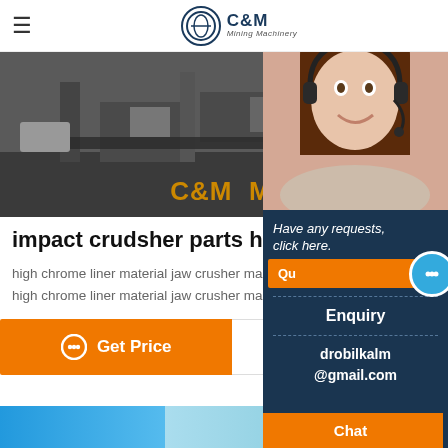C&M Mining Machinery
[Figure (photo): Industrial mining machinery/crusher equipment site photo with 'C&M Mach' text overlay in orange]
impact crudsher parts high chrom
high chrome liner material jaw crusher ma
high chrome liner material jaw crusher ma
Get Price   Send
[Figure (photo): Chat support panel with female customer service representative wearing headset, with Have any requests, click here text, Enquiry label, drobilkalm@gmail.com email, and Chat button]